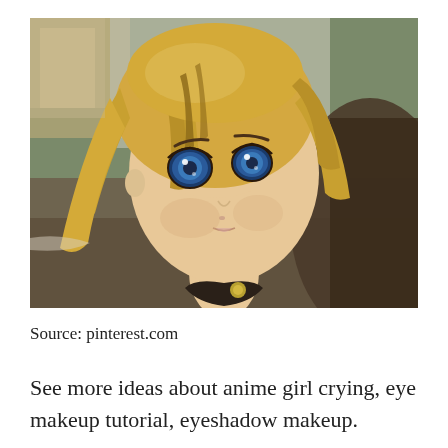[Figure (illustration): Anime character with blonde hair and blue eyes looking upward with a slightly surprised expression, wearing a dark collar. Background shows a blurred outdoor scene.]
Source: pinterest.com
See more ideas about anime girl crying, eye makeup tutorial, eyeshadow makeup.